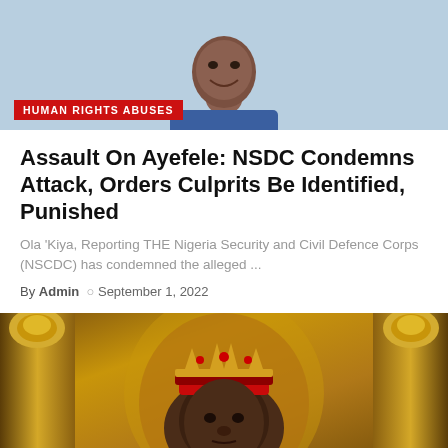[Figure (photo): Photo of a man in a blue outfit smiling, with a light blue background. Red tag overlay reads HUMAN RIGHTS ABUSES.]
Assault On Ayefele: NSDC Condemns Attack, Orders Culprits Be Identified, Punished
Ola ‘Kiya, Reporting THE Nigeria Security and Civil Defence Corps (NSCDC) has condemned the alleged ...
By Admin  ○  September 1, 2022
[Figure (photo): Photo of a man wearing a royal red and gold crown and ornate regal attire, seated on an elaborate golden throne.]